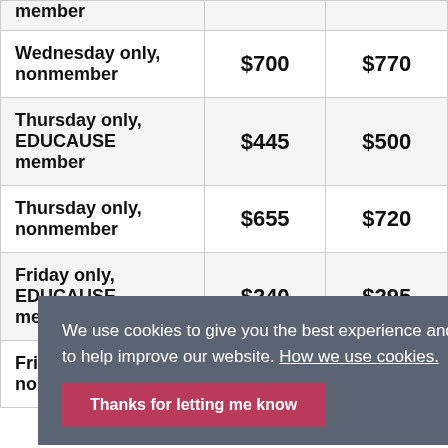| member |  |  |
| Wednesday only, nonmember | $700 | $770 |
| Thursday only, EDUCAUSE member | $445 | $500 |
| Thursday only, nonmember | $655 | $720 |
| Friday only, EDUCAUSE member | $240 | $295 |
| Friday only, nonmember | $310 | $375 |
We use cookies to give you the best experience and to help improve our website. How we use cookies.
Thanks for letting me know